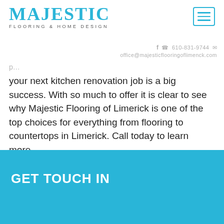[Figure (logo): Majestic Flooring & Home Design logo with teal/cyan text]
[Figure (other): Hamburger menu icon button with teal border]
f  ☎ 610-831-9744  ✉
office@majesticflooringoflimenck.com
your next kitchen renovation job is a big success. With so much to offer it is clear to see why Majestic Flooring of Limerick is one of the top choices for everything from flooring to countertops in Limerick. Call today to learn more.
GET TOUCH IN